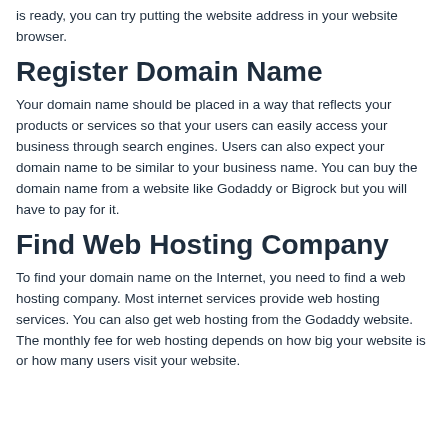is ready, you can try putting the website address in your website browser.
Register Domain Name
Your domain name should be placed in a way that reflects your products or services so that your users can easily access your business through search engines. Users can also expect your domain name to be similar to your business name. You can buy the domain name from a website like Godaddy or Bigrock but you will have to pay for it.
Find Web Hosting Company
To find your domain name on the Internet, you need to find a web hosting company. Most internet services provide web hosting services. You can also get web hosting from the Godaddy website. The monthly fee for web hosting depends on how big your website is or how many users visit your website.